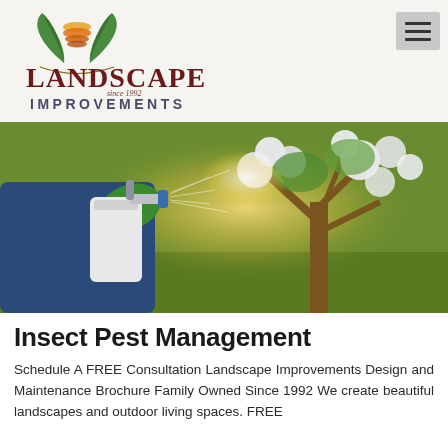[Figure (logo): Landscape Improvements logo with green leaf wings and orange/yellow sun icon above bold dark red text reading LANDSCAPE IMPROVEMENTS since 1992]
[Figure (photo): Person wearing blue jacket and green glove spraying liquid from a white hand pump sprayer toward a blooming white flowering tree in a sunny outdoor setting]
Insect Pest Management
Schedule A FREE Consultation Landscape Improvements Design and Maintenance Brochure Family Owned Since 1992 We create beautiful landscapes and outdoor living spaces. FREE